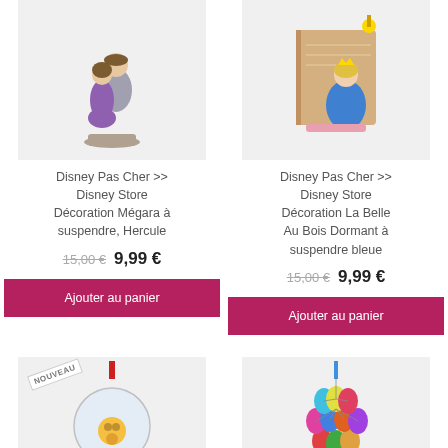[Figure (photo): Disney figurine of Megara and Hercules on a stone pedestal, Megara in purple dress]
Disney Pas Cher >> Disney Store Décoration Mégara à suspendre, Hercule
15,00 €  9,99 €
Ajouter au panier
[Figure (photo): Disney ornament of Sleeping Beauty / La Belle Au Bois Dormant in blue dress, book-shaped decoration]
Disney Pas Cher >> Disney Store Décoration La Belle Au Bois Dormant à suspendre bleue
15,00 €  9,99 €
Ajouter au panier
[Figure (photo): Disney Christmas ornament ball with red ribbon hanger, NOUVEAU badge in top left, character inside glass ball]
[Figure (photo): Disney UP movie colorful balloons ornament hanging decoration with blue ribbon]